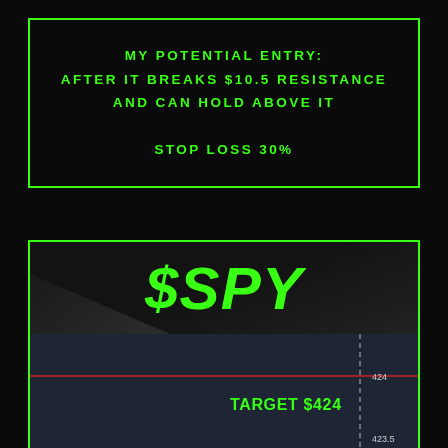MY POTENTIAL ENTRY: AFTER IT BREAKS $10.5 RESISTANCE AND CAN HOLD ABOVE IT

STOP LOSS 30%
[Figure (continuous-plot): Stock chart for $SPY showing a horizontal red resistance/target line at $424, with a vertical dashed white line. Text label 'TARGET $424' in green. Price level 423.5 shown at bottom right. Chart background is dark blue-grey.]